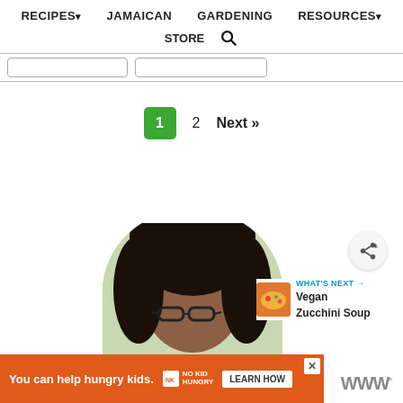RECIPES▾  JAMAICAN  GARDENING  RESOURCES▾  STORE 🔍
1  2  Next »
[Figure (photo): Profile photo of a woman with curly hair and glasses, shown in a circular crop]
[Figure (infographic): WHAT'S NEXT → Vegan Zucchini Soup promotional thumbnail with bowl of soup image]
[Figure (infographic): Advertisement banner: You can help hungry kids. NO KID HUNGRY | LEARN HOW]